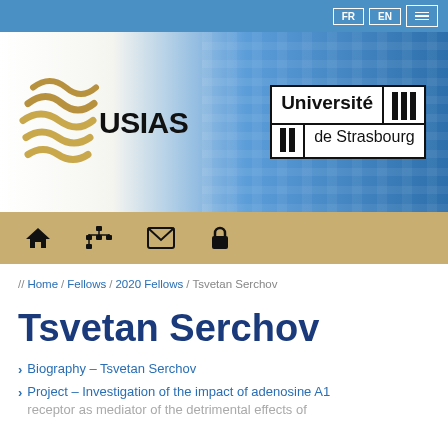FR EN [menu]
[Figure (logo): USIAS logo with golden wave marks and text 'USIAS', alongside Université de Strasbourg logo badge]
Navigation icons: home, sitemap, mail, lock
// Home / Fellows / 2020 Fellows / Tsvetan Serchov
Tsvetan Serchov
Biography – Tsvetan Serchov
Project – Investigation of the impact of adenosine A1 receptor as mediator of the detrimental effects of